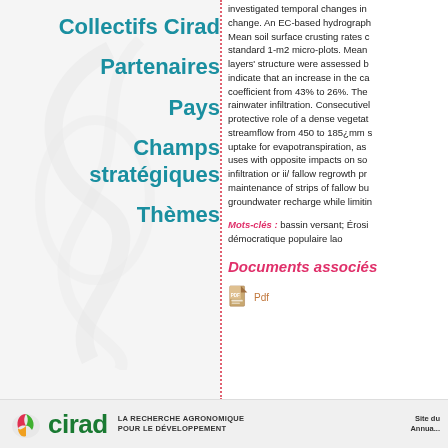Collectifs Cirad
Partenaires
Pays
Champs stratégiques
Thèmes
investigated temporal changes in... change. An EC-based hydrograph... Mean soil surface crusting rates c... standard 1-m2 micro-plots. Mean layers' structure were assessed b... indicate that an increase in the ca... coefficient from 43% to 26%. The... rainwater infiltration. Consecutivel... protective role of a dense vegetat... streamflow from 450 to 185¿mm s... uptake for evapotranspiration, as uses with opposite impacts on so... infiltration or ii/ fallow regrowth pr... maintenance of strips of fallow b... groundwater recharge while limitin...
Mots-clés : bassin versant; Érosi... démocratique populaire lao
Documents associés
[Figure (other): PDF icon]
cirad - LA RECHERCHE AGRONOMIQUE POUR LE DÉVELOPPEMENT - Site du... Annua...